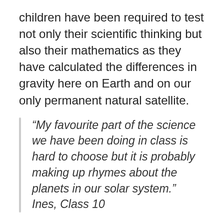children have been required to test not only their scientific thinking but also their mathematics as they have calculated the differences in gravity here on Earth and on our only permanent natural satellite.
“My favourite part of the science we have been doing in class is hard to choose but it is probably making up rhymes about the planets in our solar system.” Ines, Class 10
The next stop for our budding young space explorers was Mars, our closest planetary